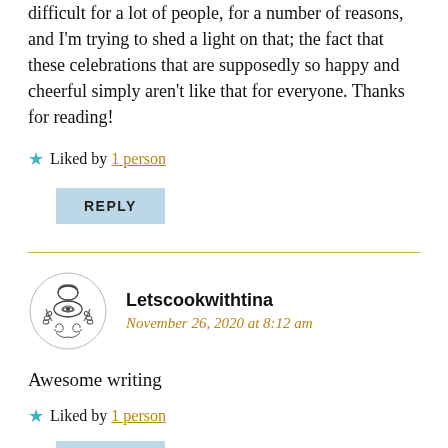difficult for a lot of people, for a number of reasons, and I'm trying to shed a light on that; the fact that these celebrations that are supposedly so happy and cheerful simply aren't like that for everyone. Thanks for reading!
★ Liked by 1 person
REPLY
Letscookwithtina
November 26, 2020 at 8:12 am
Awesome writing
★ Liked by 1 person
REPLY